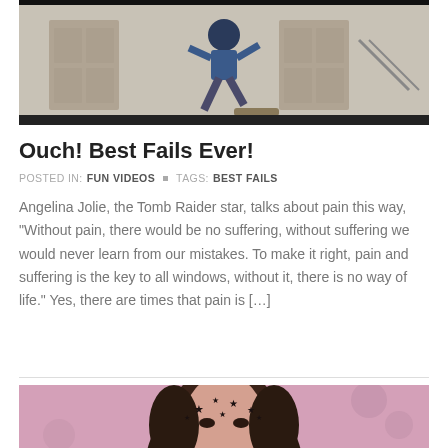[Figure (photo): A person skateboarding or jumping in front of a brick building with wooden doors]
Ouch! Best Fails Ever!
POSTED IN: FUN VIDEOS  ▪  TAGS: BEST FAILS
Angelina Jolie, the Tomb Raider star, talks about pain this way, "Without pain, there would be no suffering, without suffering we would never learn from our mistakes. To make it right, pain and suffering is the key to all windows, without it, there is no way of life." Yes, there are times that pain is […]
[Figure (photo): A person with dark curly hair and black star tattoos or markings on their face, against a pink floral background]